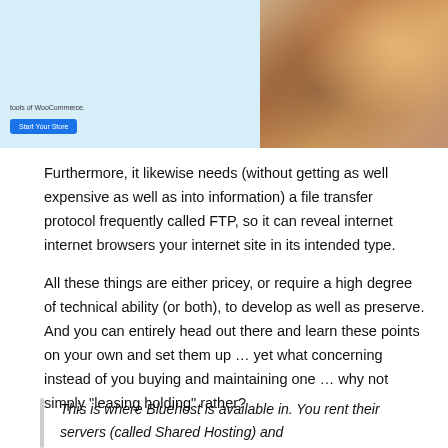[Figure (screenshot): Screenshot of a web page showing a WooCommerce/Bluehost banner with a 'Start Your Store' button on a light blue background, with a photo of a woman working on the right side.]
Furthermore, it likewise needs (without getting as well expensive as well as into information) a file transfer protocol frequently called FTP, so it can reveal internet internet browsers your internet site in its intended type.
All these things are either pricey, or require a high degree of technical ability (or both), to develop as well as preserve. And you can entirely head out there and learn these points on your own and set them up … yet what concerning instead of you buying and maintaining one … why not simply “leasing holding” rather?
This is where Bluehost is available in. You rent their servers (called Shared Hosting) and